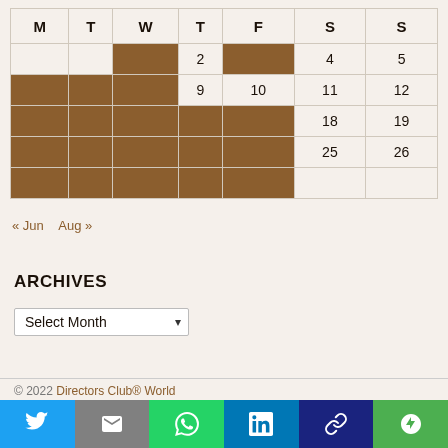| M | T | W | T | F | S | S |
| --- | --- | --- | --- | --- | --- | --- |
|  |  | [brown] | 2 | [brown] | 4 | 5 |
| [brown] | [brown] | [brown] | 9 | 10 | 11 | 12 |
| [brown] | [brown] | [brown] | [brown] | [brown] | 18 | 19 |
| [brown] | [brown] | [brown] | [brown] | [brown] | 25 | 26 |
| [brown] | [brown] | [brown] | [brown] | [brown] |  |  |
« Jun  Aug »
ARCHIVES
Select Month
© 2022 Directors Club® World